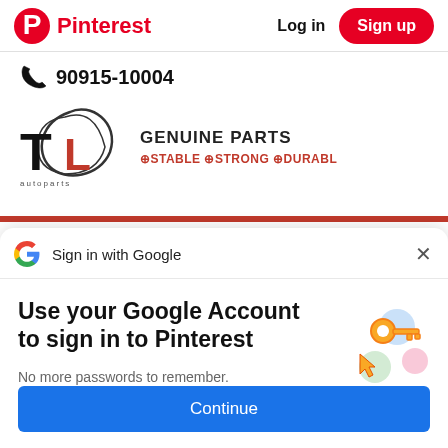Pinterest  Log in  Sign up
[Figure (screenshot): Partial product listing showing phone number 90915-10004 and FL brand logo with tagline GENUINE PARTS STABLE STRONG DURABLE and a red horizontal bar]
[Figure (screenshot): Google Sign In prompt overlay: 'Sign in with Google' header with G logo and X close button, body text 'Use your Google Account to sign in to Pinterest. No more passwords to remember. Signing in is fast, simple and secure.' with key illustration and a blue Continue button]